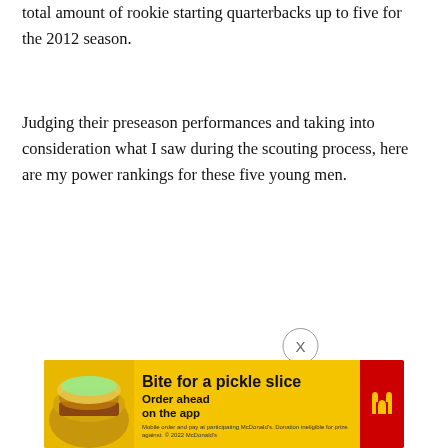total amount of rookie starting quarterbacks up to five for the 2012 season.
Judging their preseason performances and taking into consideration what I saw during the scouting process, here are my power rankings for these five young men.
[Figure (other): Navigation bar with Previous and Next buttons (pill-shaped, black background), and an X close button to the right]
[Figure (other): McDonald's advertisement banner with yellow background: fried chicken sandwich image, text 'Bite for a pickle slice', 'Order ahead on the app', McDonald's logo]